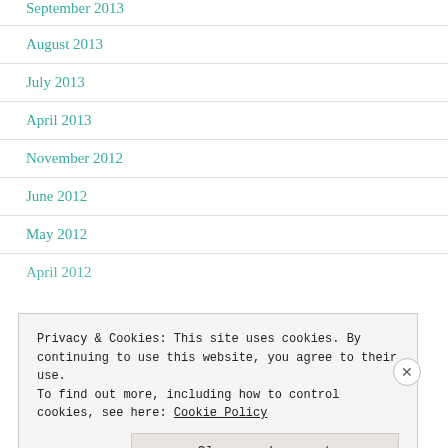September 2013
August 2013
July 2013
April 2013
November 2012
June 2012
May 2012
April 2012
Privacy & Cookies: This site uses cookies. By continuing to use this website, you agree to their use. To find out more, including how to control cookies, see here: Cookie Policy
Close and accept